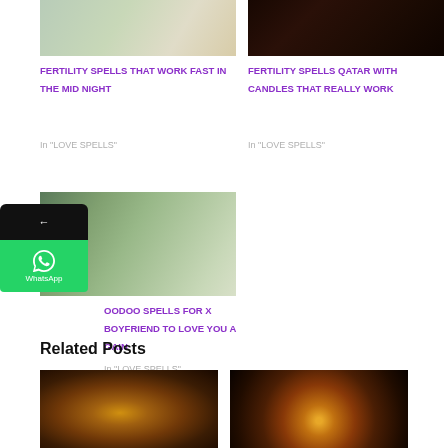[Figure (photo): Couple photo - top left, people posing together]
FERTILITY SPELLS THAT WORK FAST IN THE MID NIGHT
In "LOVE SPELLS"
[Figure (photo): Dark photo - hands forming heart shape]
FERTILITY SPELLS QATAR WITH CANDLES THAT REALLY WORK
In "LOVE SPELLS"
[Figure (photo): Couple sitting on bench, man holding rose]
VOODOO SPELLS FOR EX BOYFRIEND TO LOVE YOU A GAIN
In "LOVE SPELLS"
[Figure (illustration): WhatsApp contact button overlay on left side]
Related Posts
[Figure (photo): Glowing magical object - related post image left]
[Figure (photo): Candle glowing in dark - related post image right]